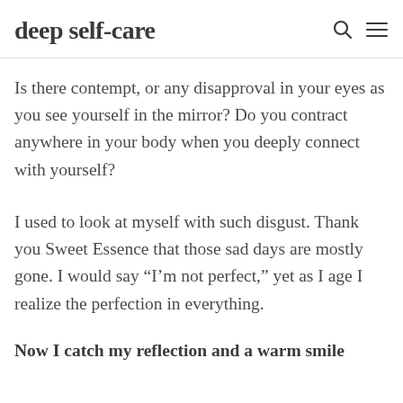deep self-care
Is there contempt, or any disapproval in your eyes as you see yourself in the mirror? Do you contract anywhere in your body when you deeply connect with yourself?
I used to look at myself with such disgust. Thank you Sweet Essence that those sad days are mostly gone. I would say “I’m not perfect,” yet as I age I realize the perfection in everything.
Now I catch my reflection and a warm smile crosses my face. At first this was